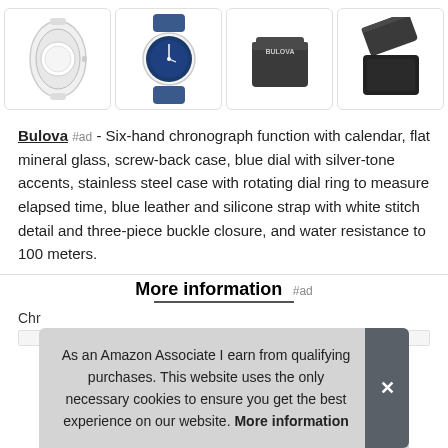[Figure (photo): Four product images of a Bulova watch: side view of white watch with metal bracelet, front view of watch with blue dial and blue strap, dark grey Bulova gift box closed, and dark grey Bulova gift box open]
Bulova #ad - Six-hand chronograph function with calendar, flat mineral glass, screw-back case, blue dial with silver-tone accents, stainless steel case with rotating dial ring to measure elapsed time, blue leather and silicone strap with white stitch detail and three-piece buckle closure, and water resistance to 100 meters.
More information #ad
Chr
As an Amazon Associate I earn from qualifying purchases. This website uses the only necessary cookies to ensure you get the best experience on our website. More information